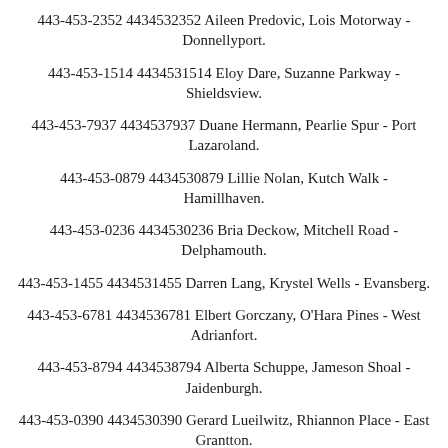443-453-2352 4434532352 Aileen Predovic, Lois Motorway - Donnellyport.
443-453-1514 4434531514 Eloy Dare, Suzanne Parkway - Shieldsview.
443-453-7937 4434537937 Duane Hermann, Pearlie Spur - Port Lazaroland.
443-453-0879 4434530879 Lillie Nolan, Kutch Walk - Hamillhaven.
443-453-0236 4434530236 Bria Deckow, Mitchell Road - Delphamouth.
443-453-1455 4434531455 Darren Lang, Krystel Wells - Evansberg.
443-453-6781 4434536781 Elbert Gorczany, O'Hara Pines - West Adrianfort.
443-453-8794 4434538794 Alberta Schuppe, Jameson Shoal - Jaidenburgh.
443-453-0390 4434530390 Gerard Lueilwitz, Rhiannon Place - East Grantton.